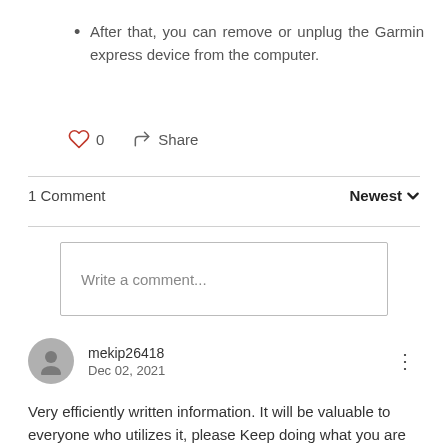After that, you can remove or unplug the Garmin express device from the computer.
0  Share
1 Comment  Newest
Write a comment...
mekip26418
Dec 02, 2021
Very efficiently written information. It will be valuable to everyone who utilizes it, please Keep doing what you are doing and keep sharing amazing information